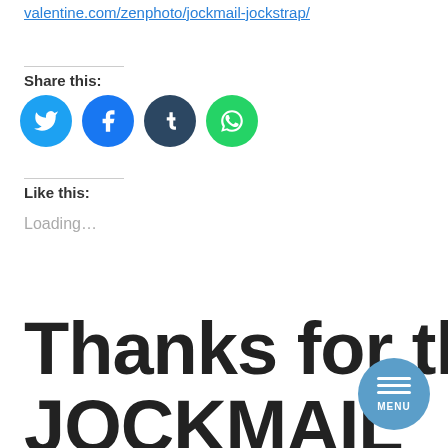valentine.com/zenphoto/jockmail-jockstrap/
Share this:
[Figure (other): Social sharing icon buttons: Twitter (blue), Facebook (blue), Tumblr (dark navy), WhatsApp (green)]
Like this:
Loading...
Thanks for the JOCKMAIL Jockstrap!
[Figure (other): Circular menu button with three horizontal white lines and MENU label, steel blue background]